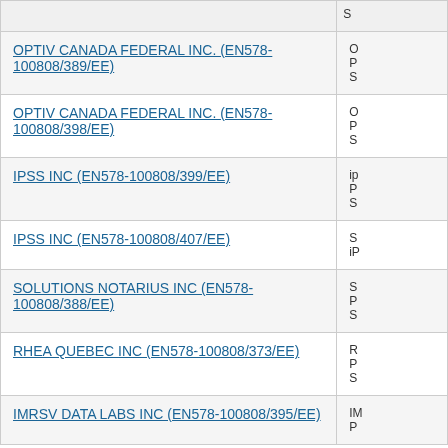| Supplier / Fournisseur | Details |
| --- | --- |
| OPTIV CANADA FEDERAL INC. (EN578-100808/389/EE) | O
P
S |
| OPTIV CANADA FEDERAL INC. (EN578-100808/398/EE) | O
P
S |
| IPSS INC (EN578-100808/399/EE) | ip
P
S |
| IPSS INC (EN578-100808/407/EE) | S
iP |
| SOLUTIONS NOTARIUS INC (EN578-100808/388/EE) | S
P
S |
| RHEA QUEBEC INC (EN578-100808/373/EE) | R
P
S |
| IMRSV DATA LABS INC (EN578-100808/395/EE) | IM
P |